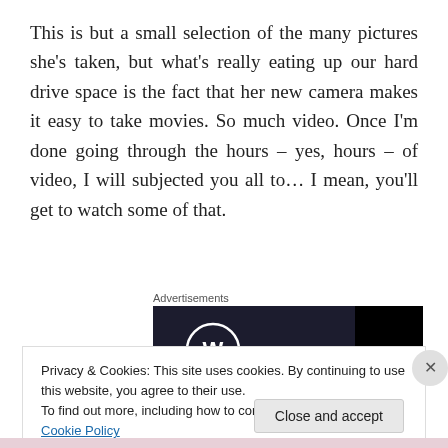This is but a small selection of the many pictures she's taken, but what's really eating up our hard drive space is the fact that her new camera makes it easy to take movies. So much video. Once I'm done going through the hours – yes, hours – of video, I will subjected you all to… I mean, you'll get to watch some of that.
Advertisements
[Figure (other): WordPress advertisement banner with dark background, WordPress logo (white circle with W), and black box on right side]
Privacy & Cookies: This site uses cookies. By continuing to use this website, you agree to their use.
To find out more, including how to control cookies, see here: Cookie Policy
Close and accept